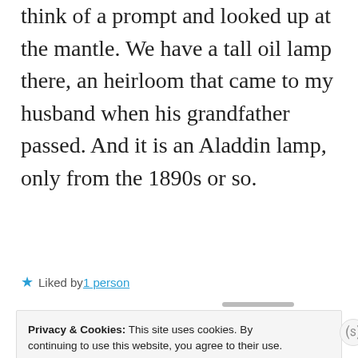think of a prompt and looked up at the mantle. We have a tall oil lamp there, an heirloom that came to my husband when his grandfather passed. And it is an Aladdin lamp, only from the 1890s or so.
★ Liked by 1 person
Privacy & Cookies: This site uses cookies. By continuing to use this website, you agree to their use.
To find out more, including how to control cookies, see here:
Cookie Policy
Close and accept